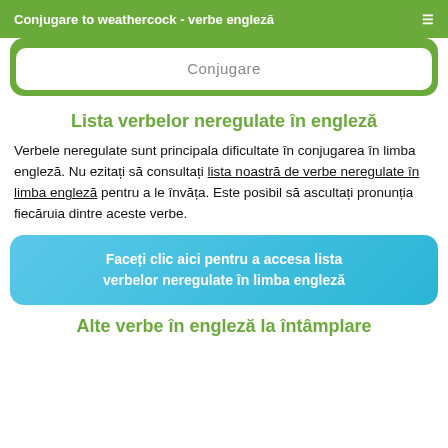Conjugare to weathercock - verbe engleză
Conjugare
Lista verbelor neregulate în engleză
Verbele neregulate sunt principala dificultate în conjugarea în limba engleză. Nu ezitați să consultați lista noastră de verbe neregulate în limba engleză pentru a le învăța. Este posibil să ascultați pronunția fiecăruia dintre aceste verbe.
Faceți clic aici pentru a accesa lista verbelor neregulate în limba engleză
Alte verbe în engleză la întâmplare